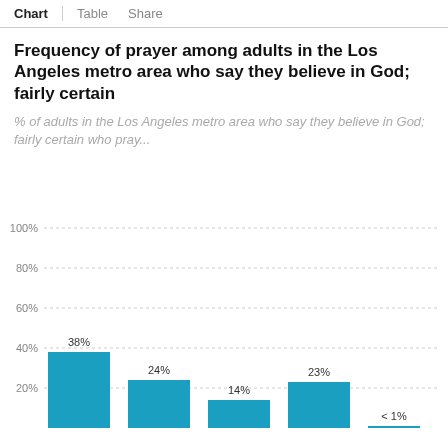Chart  Table  Share
Frequency of prayer among adults in the Los Angeles metro area who say they believe in God; fairly certain
% of adults in the Los Angeles metro area who say they believe in God; fairly certain who pray...
[Figure (bar-chart): Frequency of prayer among adults in the Los Angeles metro area who say they believe in God; fairly certain]